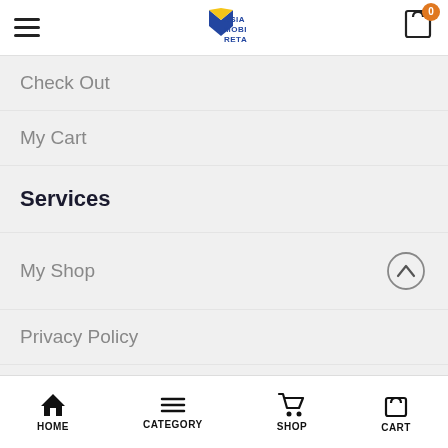Asia Mobile Retail — navigation header with hamburger menu and cart
Check Out
My Cart
Services
My Shop
Privacy Policy
Terms & Conditions
Return & Refund Policy
FAQs
HOME | CATEGORY | SHOP | CART